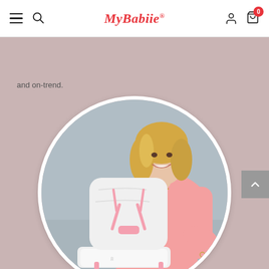MyBabiie - navigation bar with hamburger menu, search, logo, user account, and cart (0 items)
and on-trend.
[Figure (photo): A smiling blonde woman wearing a pink oversized t-shirt, posing with a white baby high chair with pink accents. The image is displayed in a circular frame on a dusty pink/mauve background.]
[Figure (other): Back to top arrow button, grey square with upward chevron arrow]